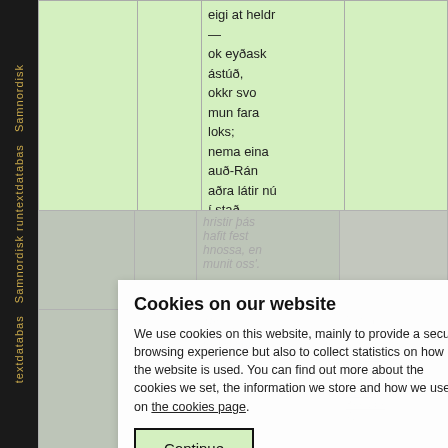Samnordisk runtextdatabas
|  |  | eigi at heldr — ok eyðask ástúð, okkr svo mun fara loks; nema eina auð-Rán aðra látir nú í stað |  |
| --- | --- | --- | --- |
|  |  | hristir þás hafit fest hnossa, en munit oss'. |  |
Cookies on our website
We use cookies on this website, mainly to provide a secure browsing experience but also to collect statistics on how the website is used. You can find out more about the cookies we set, the information we store and how we use it on the cookies page.
Continue
|  | The following text is from a superseded edition and is not the | Not in Skj; hálfhnept; ed. VEÞ; group: F; mss: 1032x, 2166x, 399a-bx, 72 |